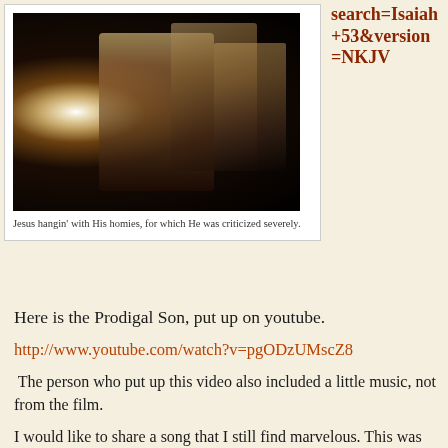[Figure (photo): Film still of Jesus with a group of people in dark, dramatic lighting]
Jesus hangin' with His homies, for which He was criticized severely.
search=Isaiah+53&version=NKJV
Here is the Prodigal Son, put up on youtube.
http://www.youtube.com/watch?v=pgODzUMscZ8
The person who put up this video also included a little music, not from the film.
I would like to share a song that I still find marvelous. This was written during the Jesus Movement of the early 1970s and presents the case for Christianity at its most basic and radical. Which pretty much describes the Jesus Movement, and how Jesus happened in my life then, too.  Enjoy.